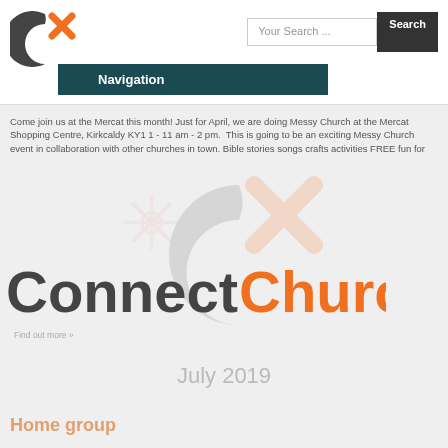[Figure (logo): Connect Church Cx logo in header]
Your Search ...
Search
Navigation
Come join us at the Mercat this month! Just for April, we are doing Messy Church at the Mercat Shopping Centre, Kirkcaldy KY1 1 - 11 am - 2 pm. This is going to be an exciting Messy Church event in collaboration with other churches in town. Bible stories songs crafts activities FREE fun for
[Figure (logo): Connect Church large logo watermark and main logo]
Find out more »
July 2019
Home group